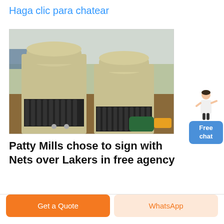Haga clic para chatear
[Figure (photo): Industrial cone crushers (yellowish-beige heavy machinery with black spring coils) on an outdoor industrial site. Two large cone crusher units visible with motors and piping.]
[Figure (illustration): Chat widget showing a woman figure in white top gesturing, with a blue button labeled 'Free chat']
Patty Mills chose to sign with Nets over Lakers in free agency
Get a Quote
WhatsApp